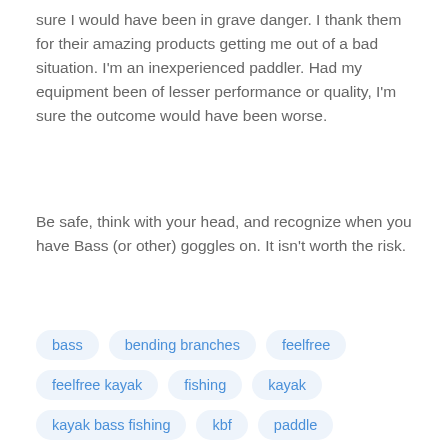sure I would have been in grave danger.  I thank them for their amazing products getting me out of a bad situation.  I'm an inexperienced paddler.  Had my equipment been of lesser performance or quality, I'm sure the outcome would have been worse.
Be safe, think with your head, and recognize when you have Bass (or other) goggles on.  It isn't worth the risk.
bass
bending branches
feelfree
feelfree kayak
fishing
kayak
kayak bass fishing
kbf
paddle
tourney x